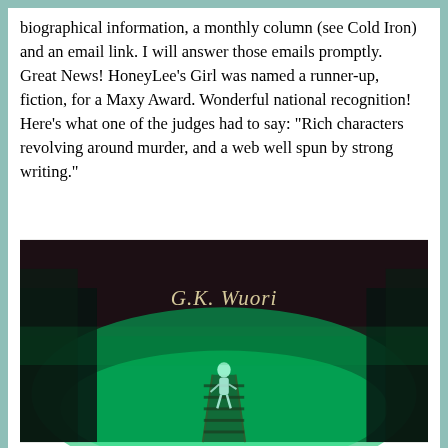biographical information, a monthly column (see Cold Iron) and an email link. I will answer those emails promptly.
Great News! HoneyLee's Girl was named a runner-up, fiction, for a Maxy Award. Wonderful national recognition! Here's what one of the judges had to say: "Rich characters revolving around murder, and a web well spun by strong writing."
[Figure (photo): Book cover image for G.K. Wuori showing a figure walking along a path in a green-lit atmospheric forest scene, with the author name 'G.K. Wuori' written in cursive script at the top.]